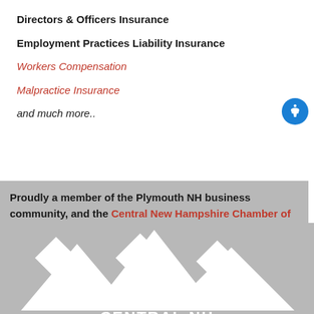Directors & Officers Insurance
Employment Practices Liability Insurance
Workers Compensation
Malpractice Insurance
and much more..
Proudly a member of the Plymouth NH business community, and the Central New Hampshire Chamber of Commerce.
[Figure (logo): Central NH Chamber of Commerce logo — white mountain diamond shapes above text 'CENTRAL NH' on gray background]